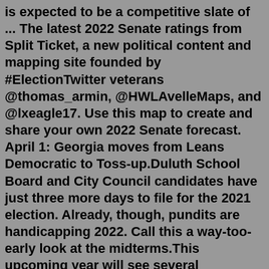is expected to be a competitive slate of ... The latest 2022 Senate ratings from Split Ticket, a new political content and mapping site founded by #ElectionTwitter veterans @thomas_armin, @HWLAvelleMaps, and @lxeagle17. Use this map to create and share your own 2022 Senate forecast. April 1: Georgia moves from Leans Democratic to Toss-up.Duluth School Board and City Council candidates have just three more days to file for the 2021 election. Already, though, pundits are handicapping 2022. Call this a way-too-early look at the midterms.This upcoming year will see several gubernatorial elections as well as Congressional elections - OddsSeeker will be covering all of the election betting predictions markets! 2022 Senate Odds: Overall Control. On November 17, 2021, the cost of shares for the GOP taking control of the Senate in 2022 rose to $0.70.While it's obviously very early in the 2022 cycle, history is somewhat encouraging for Republicans: The president's party has lost Senate seats in 14 of the last 20 midterm elections going back... Most experts